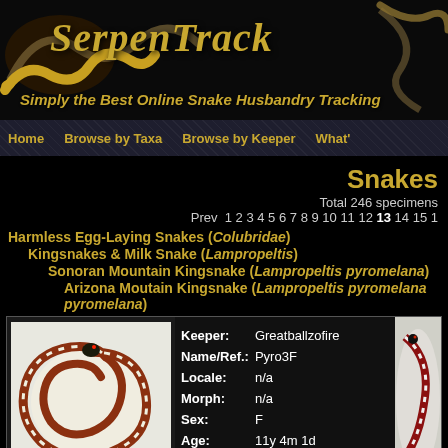[Figure (screenshot): SerpenTrack website header banner with golden text logo on black background with snake imagery]
SerpenTrack - Simply the Best Online Snake Husbandry Tracking
Home | Browse by Taxa | Browse by Keeper | What's
Snakes
Total 246 specimens
Prev 1 2 3 4 5 6 7 8 9 10 11 12 13 14 15 1...
Harmless Egg-Laying Snakes (Colubridae)
Kingsnakes & Milk Snake (Lampropeltis)
Sonoran Mountain Kingsnake (Lampropeltis pyromelana)
Arizona Moutain Kingsnake (Lampropeltis pyromelana pyromelana)
| Field | Value |
| --- | --- |
| Keeper: | Greatballzofire |
| Name/Ref.: | Pyro3F |
| Locale: | n/a |
| Morph: | n/a |
| Sex: | F |
| Age: | 11y 4m 1d |